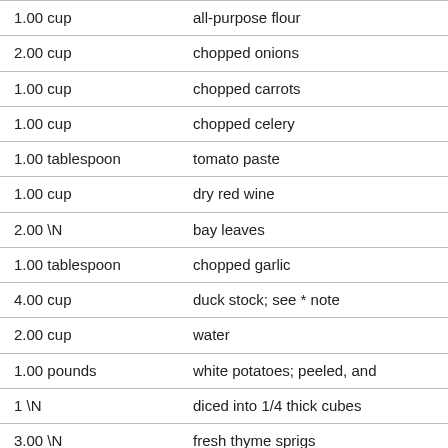| Amount | Ingredient |
| --- | --- |
| 1.00 cup | all-purpose flour |
| 2.00 cup | chopped onions |
| 1.00 cup | chopped carrots |
| 1.00 cup | chopped celery |
| 1.00 tablespoon | tomato paste |
| 1.00 cup | dry red wine |
| 2.00 \N | bay leaves |
| 1.00 tablespoon | chopped garlic |
| 4.00 cup | duck stock; see * note |
| 2.00 cup | water |
| 1.00 pounds | white potatoes; peeled, and |
| 1 \N | diced into 1/4 thick cubes |
| 3.00 \N | fresh thyme sprigs |
| 1 \N | crusty bread; for serving |
* Note: See the "Duck Stock" recipe which is included in